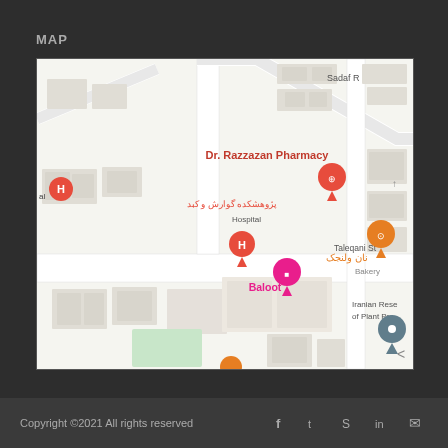MAP
[Figure (map): Google Maps view showing Dr. Razzazan Pharmacy, Taleqani St, Baloot hotel, Hospital markers, Iranian Research of Plant Protection, Sadaf R, and a Bakery (نان ولنجک) with various pins and labels in English and Persian.]
Copyright ©2021 All rights reserved